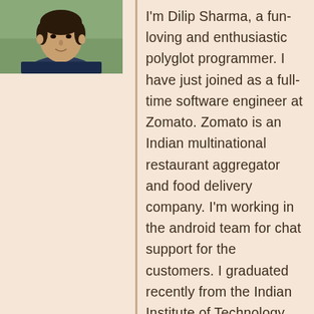[Figure (photo): Headshot photo of Dilip Sharma, a young man wearing a dark navy blue t-shirt, photographed from the shoulders up against an outdoor background.]
I'm Dilip Sharma, a fun-loving and enthusiastic polyglot programmer. I have just joined as a full-time software engineer at Zomato. Zomato is an Indian multinational restaurant aggregator and food delivery company. I'm working in the android team for chat support for the customers. I graduated recently from the Indian Institute of Technology, Ropar(India) in 2021. I am a full-stack developer. I've also done a Data science